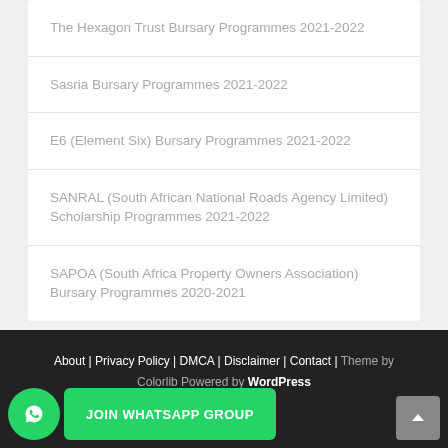The Hexagon Trust Bursary Programmes 2021-2022
Sasria Bursary Programmes 2021-2022
E6 (Element Six) Bursary Programmes 2021-2022
SANRAL (South African National Roads Agency Limited) Scholarship Programmes 2021-2022
SAPOA (South Africa Property Owners Association) Bursary Programmes 2020-2021
About | Privacy Policy | DMCA | Disclaimer | Contact | Theme by Colorlib Powered by WordPress